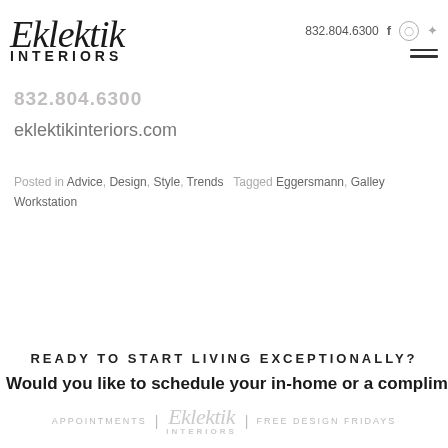Eklektik Interiors | 832.804.6300
832.804.6300
eklektikinteriors.com
Posted in Advice, Design, Style, Trends  Tagged Eggersmann, Galley Workstation
READY TO START LIVING EXCEPTIONALLY?
Would you like to schedule your in-home or a complimentary in-
APPOINTMENTS | Eklektik INTERIORS | FREE DESIGN FRIDAYS